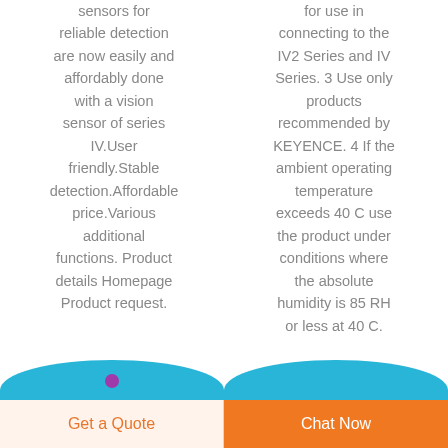sensors for reliable detection are now easily and affordably done with a vision sensor of series IV.User friendly.Stable detection.Affordable price.Various additional functions. Product details Homepage Product request.
for use in connecting to the IV2 Series and IV Series. 3 Use only products recommended by KEYENCE. 4 If the ambient operating temperature exceeds 40 C use the product under conditions where the absolute humidity is 85 RH or less at 40 C.
[Figure (photo): Two circular product images with blue rounded tops, partially visible at the bottom of the page. Left one has a purple dot visible.]